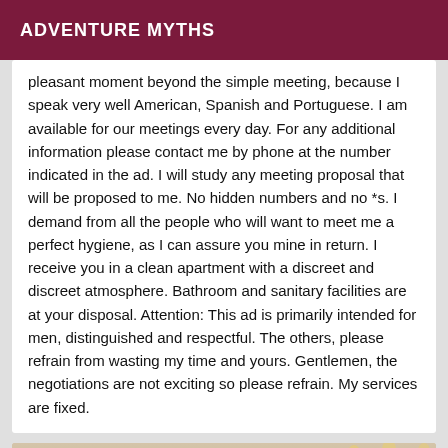ADVENTURE MYTHS
pleasant moment beyond the simple meeting, because I speak very well American, Spanish and Portuguese. I am available for our meetings every day. For any additional information please contact me by phone at the number indicated in the ad. I will study any meeting proposal that will be proposed to me. No hidden numbers and no *s. I demand from all the people who will want to meet me a perfect hygiene, as I can assure you mine in return. I receive you in a clean apartment with a discreet and discreet atmosphere. Bathroom and sanitary facilities are at your disposal. Attention: This ad is primarily intended for men, distinguished and respectful. The others, please refrain from wasting my time and yours. Gentlemen, the negotiations are not exciting so please refrain. My services are fixed.
[Figure (photo): Photo thumbnail with an 'Online' badge in the top-left corner. The image shows an interior scene, partially visible at the bottom of the page.]